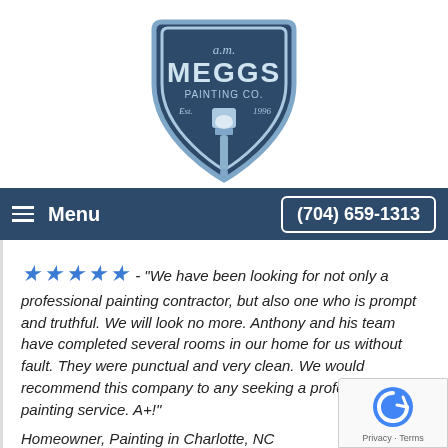[Figure (logo): AM Meggs Painting Co. shield-shaped logo with paint brush, Est. 1996, blue and light blue colors]
Menu   (704) 659-1313
★★★★★ - "We have been looking for not only a professional painting contractor, but also one who is prompt and truthful. We will look no more. Anthony and his team have completed several rooms in our home for us without fault. They were punctual and very clean. We would recommend this company to any seeking a professional painting service. A+!"
Homeowner, Painting in Charlotte, NC